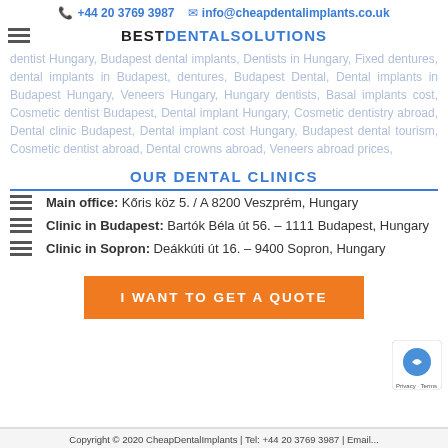📞 +44 20 3769 3987   ✉ info@cheapdentalimplants.co.uk
dentist Hungary, Budapest dental implants, Dentists in Hungary, Fixed dentures, dental implants in Budapest, dentures, Budapest Dental, Dental implants in Budapest Hungary, Veneers Hungary, Hungary dentists, Basal implants cost, Cosmetic dentist Budapest, Dental implant Hungary, Cosmetic dentistry abroad, Dental clinic Budapest, Dental implant cost Hungary, Budapest dental tourism, Cosmetic dentist abroad, Dental crowns abroad, Veneers abroad prices,
OUR DENTAL CLINICS
Main office: Kőris köz 5. / A 8200 Veszprém, Hungary
Clinic in Budapest: Bartók Béla út 56. – 1111 Budapest, Hungary
Clinic in Sopron: Deákkúti út 16. – 9400 Sopron, Hungary
I WANT TO GET A QUOTE
Copyright © 2020 CheapDentalImplants | Tel: +44 20 3769 3987 | Email...